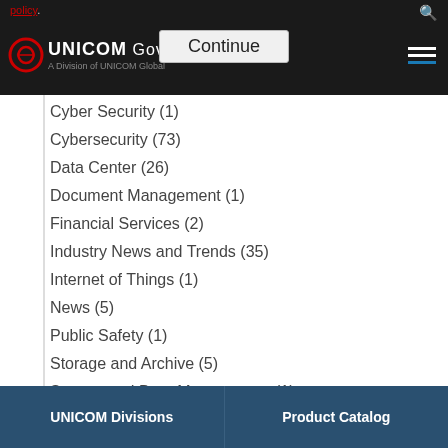policy.
[Figure (logo): UNICOM Government, Inc. — A Division of UNICOM Global logo with navigation bar]
Cyber Security (1)
Cybersecurity (73)
Data Center (26)
Document Management (1)
Financial Services (2)
Industry News and Trends (35)
Internet of Things (1)
News (5)
Public Safety (1)
Storage and Archive (5)
System and Data Management (1)
Technology (2)
integration and distribution (1)
UNICOM Divisions | Product Catalog